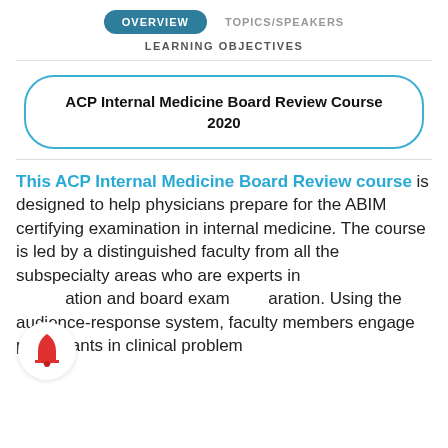OVERVIEW   TOPICS/SPEAKERS
LEARNING OBJECTIVES
ACP Internal Medicine Board Review Course 2020
This ACP Internal Medicine Board Review course is designed to help physicians prepare for the ABIM certifying examination in internal medicine. The course is led by a distinguished faculty from all the subspecialty areas who are experts in [board exam preparation] and board exam [preparation]. Using the audience-response system, faculty members engage participants in clinical problem
[Figure (illustration): Red bell notification icon in a white circle with shadow, partially overlapping body text on the lower left side of the page.]